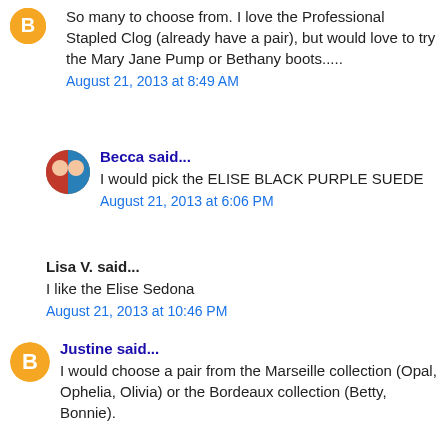So many to choose from. I love the Professional Stapled Clog (already have a pair), but would love to try the Mary Jane Pump or Bethany boots.....
August 21, 2013 at 8:49 AM
Becca said...
I would pick the ELISE BLACK PURPLE SUEDE
August 21, 2013 at 6:06 PM
Lisa V. said...
I like the Elise Sedona
August 21, 2013 at 10:46 PM
Justine said...
I would choose a pair from the Marseille collection (Opal, Ophelia, Olivia) or the Bordeaux collection (Betty, Bonnie).